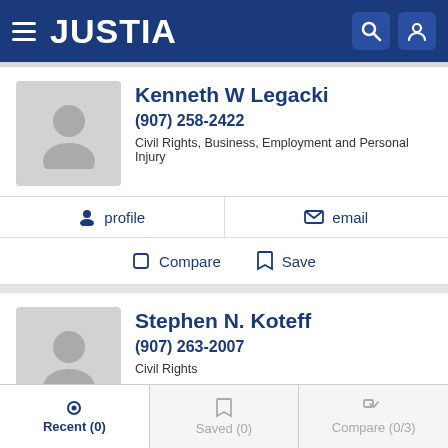JUSTIA
Kenneth W Legacki
(907) 258-2422
Civil Rights, Business, Employment and Personal Injury
profile   email
Compare   Save
Stephen N. Koteff
(907) 263-2007
Civil Rights
profile   email
Recent (0)   Saved (0)   Compare (0/3)